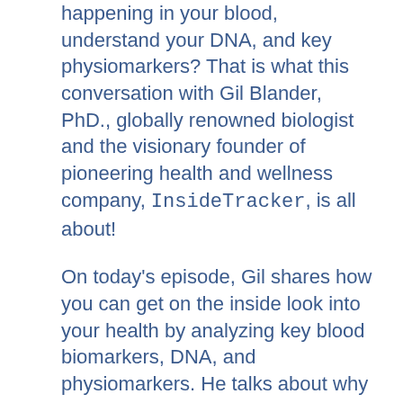happening in your blood, understand your DNA, and key physiomarkers? That is what this conversation with Gil Blander, PhD., globally renowned biologist and the visionary founder of pioneering health and wellness company, InsideTracker, is all about!
On today's episode, Gil shares how you can get on the inside look into your health by analyzing key blood biomarkers, DNA, and physiomarkers. He talks about why these markers are essential to monitor and how InsideTracker analyzes the data to offer - evidence-based highly personalized recommendations on what foods to eat, supplements to take, and lifestyle activities to adjust, all from their team of expert nutritionists and geneticists.